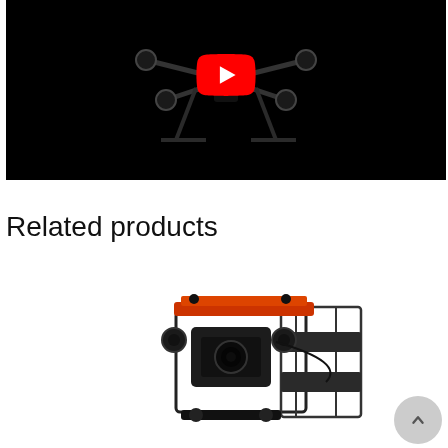[Figure (screenshot): YouTube video thumbnail showing a drone on a black background with YouTube play button icon in red and white.]
Related products
[Figure (photo): Product photo of a camera gimbal stabilizer with orange and black metal frame components on a white background.]